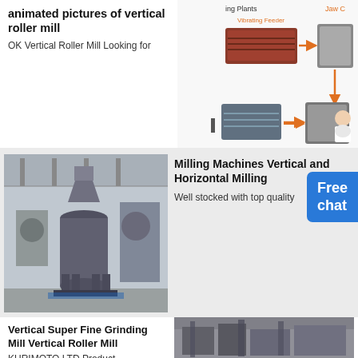animated pictures of vertical roller mill
OK Vertical Roller Mill Looking for
[Figure (flowchart): Diagram of crushing/screening plant process flow showing Vibrating Feeder, Jaw Crusher, and other equipment connected by arrows, with a customer service figure]
[Figure (photo): Industrial vertical roller mill machine inside a factory/plant building]
Milling Machines Vertical and Horizontal Milling
Well stocked with top quality
Vertical Super Fine Grinding Mill Vertical Roller Mill
KURIMOTO LTD Product
[Figure (photo): Industrial grinding mill machinery in a factory setting]